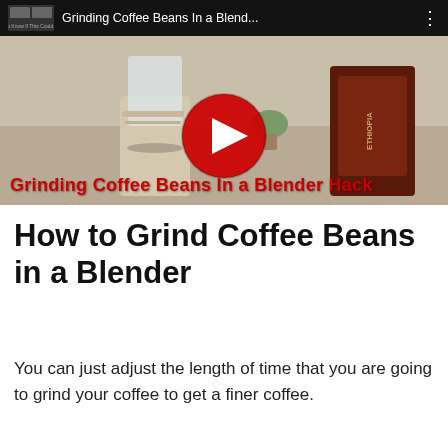[Figure (screenshot): YouTube video thumbnail showing a blender and coffee beans on a kitchen counter. The video title bar reads 'Grinding Coffee Beans In a Blend...' with a red YouTube play button in the center. A red bold caption at the bottom reads 'Grinding Coffee Beans In a Blender Hack'.]
How to Grind Coffee Beans in a Blender
You can just adjust the length of time that you are going to grind your coffee to get a finer coffee.